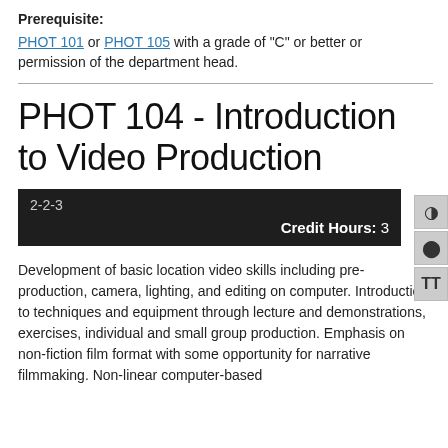Prerequisite:
PHOT 101 or PHOT 105 with a grade of "C" or better or permission of the department head.
PHOT 104 - Introduction to Video Production
2-2-3
Credit Hours: 3
Development of basic location video skills including pre-production, camera, lighting, and editing on computer. Introduction to techniques and equipment through lecture and demonstrations, exercises, individual and small group production. Emphasis on non-fiction film format with some opportunity for narrative filmmaking. Non-linear computer-based